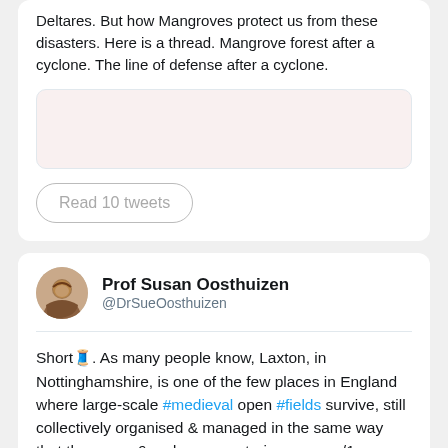Deltares. But how Mangroves protect us from these disasters. Here is a thread. Mangrove forest after a cyclone. The line of defense after a cyclone.
[Figure (photo): Image placeholder with rounded border, partially visible]
Read 10 tweets
Prof Susan Oosthuizen
@DrSueOosthuizen
Short🧵. As many people know, Laxton, in Nottinghamshire, is one of the few places in England where large-scale #medieval open #fields survive, still collectively organised & managed in the same way that they were 6 and more centuries ago. … /1